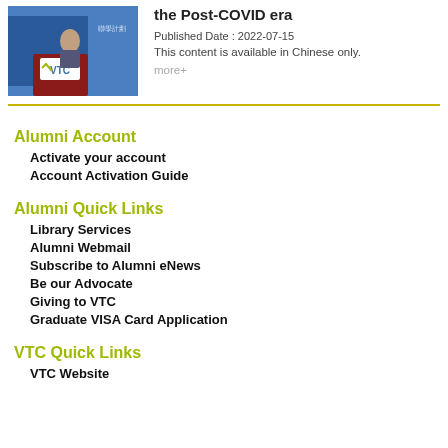[Figure (photo): Photo of a person speaking at a VTC podium with banner in background]
the Post-COVID era
Published Date : 2022-07-15
This content is available in Chinese only.
more+
Alumni Account
Activate your account
Account Activation Guide
Alumni Quick Links
Library Services
Alumni Webmail
Subscribe to Alumni eNews
Be our Advocate
Giving to VTC
Graduate VISA Card Application
VTC Quick Links
VTC Website